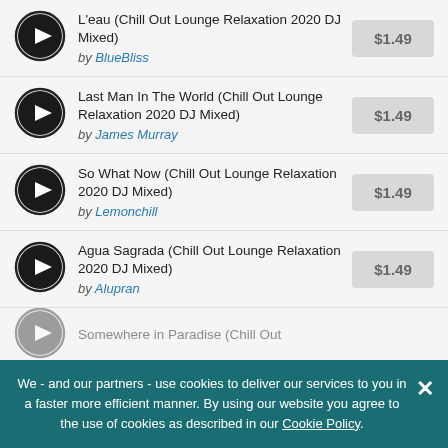L'eau (Chill Out Lounge Relaxation 2020 DJ Mixed) by BlueBliss $1.49
Last Man In The World (Chill Out Lounge Relaxation 2020 DJ Mixed) by James Murray $1.49
So What Now (Chill Out Lounge Relaxation 2020 DJ Mixed) by Lemonchill $1.49
Agua Sagrada (Chill Out Lounge Relaxation 2020 DJ Mixed) by Alupran $1.49
Somewhere in Paradise (Chill Out Lounge Relaxation 2020 DJ Mixed) [partially visible]
We - and our partners - use cookies to deliver our services to you in a faster more efficient manner. By using our website you agree to the use of cookies as described in our Cookie Policy.